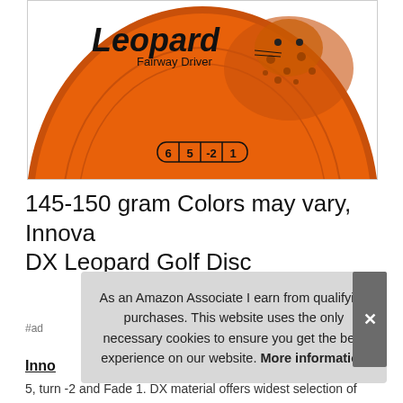[Figure (photo): Orange Innova DX Leopard Fairway Driver disc golf disc with leopard graphic and flight numbers 6 5 -2 1, shown from above, cropped at top]
145-150 gram Colors may vary, Innova DX Leopard Golf Disc
#ad
Innova
5, turn -2 and Fade 1. DX material offers widest selection of
As an Amazon Associate I earn from qualifying purchases. This website uses the only necessary cookies to ensure you get the best experience on our website. More information